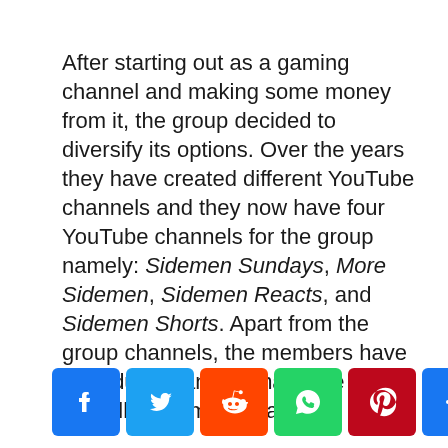After starting out as a gaming channel and making some money from it, the group decided to diversify its options. Over the years they have created different YouTube channels and they now have four YouTube channels for the group namely: Sidemen Sundays, More Sidemen, Sidemen Reacts, and Sidemen Shorts. Apart from the group channels, the members have individual channels that have propelled them to wealth.
[Figure (other): Social media sharing buttons: Facebook, Twitter, Reddit, WhatsApp, Pinterest, and a Plus/share button]